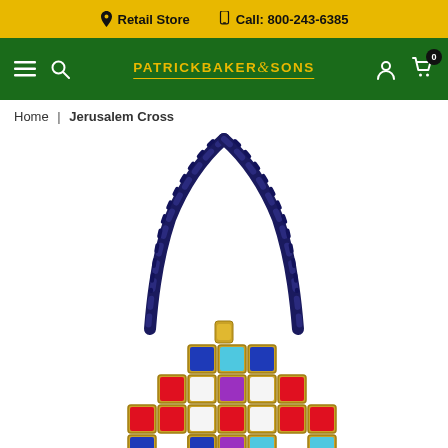📍 Retail Store   📱 Call: 800-243-6385
[Figure (screenshot): Patrick Baker & Sons green navigation bar with logo, hamburger menu, search icon, account icon, and cart icon showing 0 items]
Home | Jerusalem Cross
[Figure (photo): Jerusalem Cross pendant necklace on a dark navy braided cord, featuring colorful enamel tiles in blue, red, purple, cyan/light blue on a gold setting, arranged in a cross pattern]